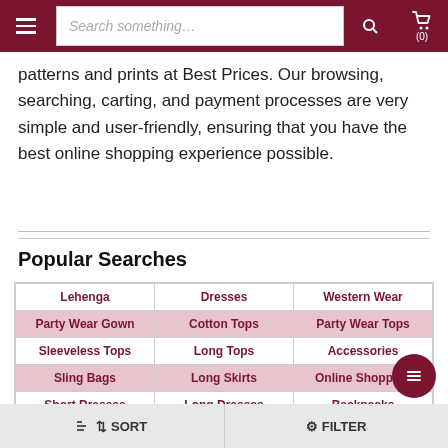Search something... (0)
patterns and prints at Best Prices. Our browsing, searching, carting, and payment processes are very simple and user-friendly, ensuring that you have the best online shopping experience possible.
Popular Searches
| Lehenga | Dresses | Western Wear |
| --- | --- | --- |
| Party Wear Gown | Cotton Tops | Party Wear Tops |
| Sleeveless Tops | Long Tops | Accessories |
| Sling Bags | Long Skirts | Online Shopping |
| Short Dresses | Long Dresses | Backpacks |
| Dhoti Salwar | Mini Skirt | Indo Western |
SORT   FILTER